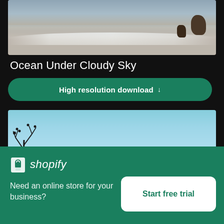[Figure (photo): Ocean waves crashing on a rocky shore under cloudy sky, aerial view]
Ocean Under Cloudy Sky
High resolution download ↓
[Figure (photo): Blue sky with cliffs and bare branches on the left side]
×
[Figure (logo): Shopify logo with shopping bag icon and italic wordmark]
Need an online store for your business?
Start free trial